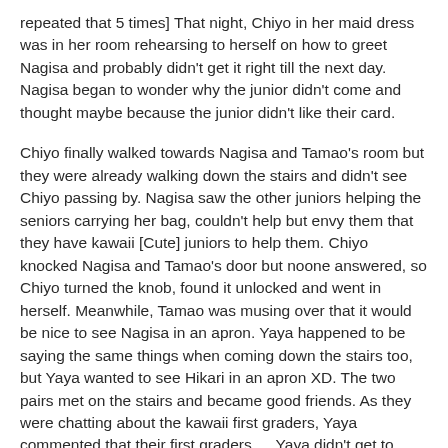repeated that 5 times] That night, Chiyo in her maid dress was in her room rehearsing to herself on how to greet Nagisa and probably didn't get it right till the next day. Nagisa began to wonder why the junior didn't come and thought maybe because the junior didn't like their card.
Chiyo finally walked towards Nagisa and Tamao's room but they were already walking down the stairs and didn't see Chiyo passing by. Nagisa saw the other juniors helping the seniors carrying her bag, couldn't help but envy them that they have kawaii [Cute] juniors to help them. Chiyo knocked Nagisa and Tamao's door but noone answered, so Chiyo turned the knob, found it unlocked and went in herself. Meanwhile, Tamao was musing over that it would be nice to see Nagisa in an apron. Yaya happened to be saying the same things when coming down the stairs too, but Yaya wanted to see Hikari in an apron XD. The two pairs met on the stairs and became good friends. As they were chatting about the kawaii first graders, Yaya commented that their first graders … Yaya didn't get to finish her sentence as St Spica First Grader, Okuwara Tsubomi who was a newcomer in the choir rebuked on Yaya's obvious comment on her